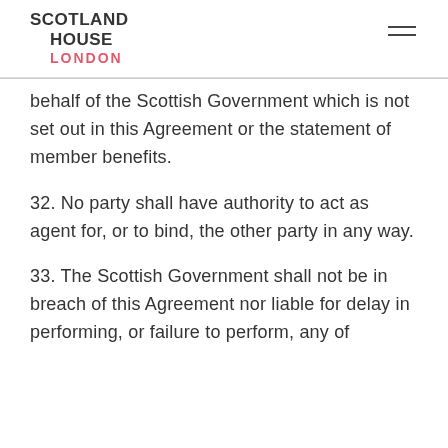SCOTLAND HOUSE LONDON
behalf of the Scottish Government which is not set out in this Agreement or the statement of member benefits.
32. No party shall have authority to act as agent for, or to bind, the other party in any way.
33. The Scottish Government shall not be in breach of this Agreement nor liable for delay in performing, or failure to perform, any of